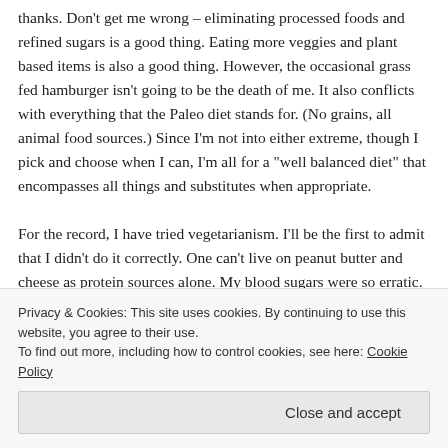thanks. Don't get me wrong – eliminating processed foods and refined sugars is a good thing. Eating more veggies and plant based items is also a good thing. However, the occasional grass fed hamburger isn't going to be the death of me. It also conflicts with everything that the Paleo diet stands for. (No grains, all animal food sources.) Since I'm not into either extreme, though I pick and choose when I can, I'm all for a "well balanced diet" that encompasses all things and substitutes when appropriate.

For the record, I have tried vegetarianism. I'll be the first to admit that I didn't do it correctly. One can't live on peanut butter and cheese as protein sources alone. My blood sugars were so erratic. My CDE and dietician thought I was
Privacy & Cookies: This site uses cookies. By continuing to use this website, you agree to their use.
To find out more, including how to control cookies, see here: Cookie Policy
Close and accept